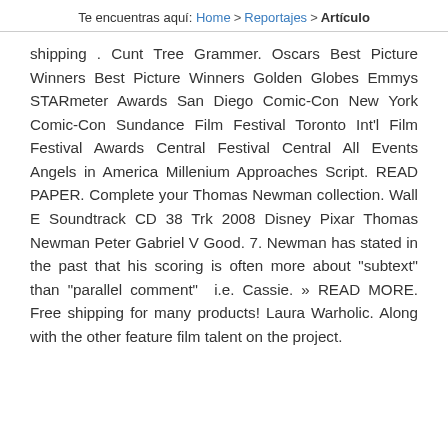Te encuentras aquí: Home > Reportajes > Artículo
shipping . Cunt Tree Grammer. Oscars Best Picture Winners Best Picture Winners Golden Globes Emmys STARmeter Awards San Diego Comic-Con New York Comic-Con Sundance Film Festival Toronto Int'l Film Festival Awards Central Festival Central All Events Angels in America Millenium Approaches Script. READ PAPER. Complete your Thomas Newman collection. Wall E Soundtrack CD 38 Trk 2008 Disney Pixar Thomas Newman Peter Gabriel V Good. 7. Newman has stated in the past that his scoring is often more about "subtext" than "parallel comment" i.e. Cassie. » READ MORE. Free shipping for many products! Laura Warholic. Along with the other feature film talent on the project.